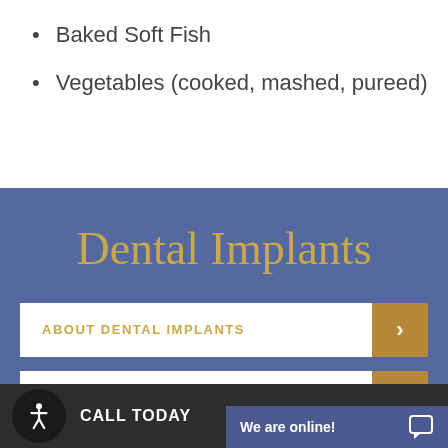Baked Soft Fish
Vegetables (cooked, mashed, pureed)
Dental Implants
ABOUT DENTAL IMPLANTS
CALL TODAY
We are online!